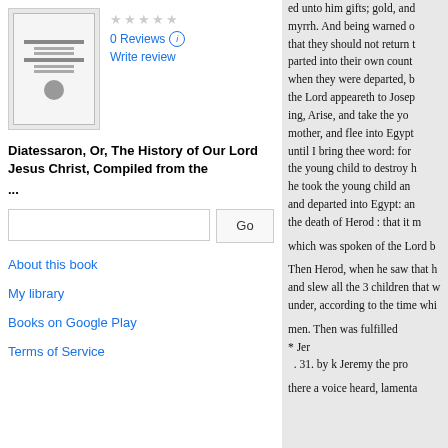[Figure (illustration): Book cover thumbnail for Diatessaron, Or, The History of Our Lord Jesus Christ]
0 Reviews
Write review
Diatessaron, Or, The History of Our Lord Jesus Christ, Compiled from the ...
About this book
My library
Books on Google Play
Terms of Service
ed unto him gifts; gold, and myrrh. And being warned o that they should not return t parted into their own count when they were departed, b the Lord appeareth to Josep ing, Arise, and take the yo mother, and flee into Egypt until I bring thee word: for the young child to destroy h he took the young child an and departed into Egypt: an the death of Herod : that it m
which was spoken of the Lord b
Then Herod, when he saw that h and slew all the 3 children that w under, according to the time whi
men. Then was fulfilled
* Jer
. 31. by k Jeremy the pro
there a voice heard, lamenta